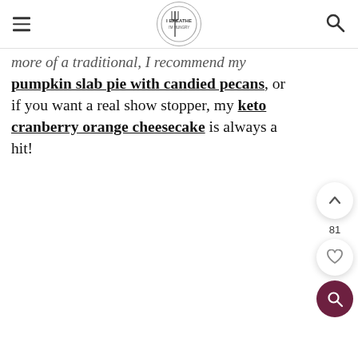I BREATHE I'M HUNGRY
more of a traditional, I recommend my pumpkin slab pie with candied pecans, or if you want a real show stopper, my keto cranberry orange cheesecake is always a hit!
[Figure (other): Floating action buttons on the right side: up-arrow button, count 81, heart button, search button (dark maroon)]